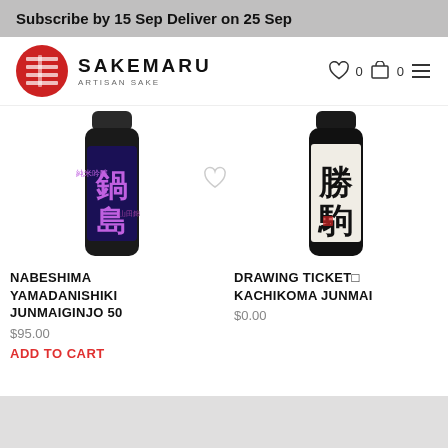Subscribe by 15 Sep Deliver on 25 Sep
[Figure (logo): Sakemaru Artisan Sake logo with red circular icon and brand name]
[Figure (photo): Nabeshima Yamadanishiki Junmaiginjo 50 sake bottle - dark bottle with purple Japanese calligraphy label]
NABESHIMA YAMADANISHIKI JUNMAIGINJO 50
$95.00
ADD TO CART
[Figure (photo): Drawing Ticket Kachikoma Junmai sake bottle - bottle with white label and black calligraphy]
DRAWING TICKET□ KACHIKOMA JUNMAI
$0.00